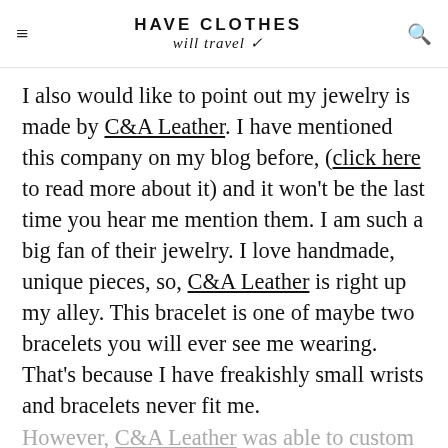HAVE CLOTHES will travel
I also would like to point out my jewelry is made by C&A Leather. I have mentioned this company on my blog before, (click here to read more about it) and it won't be the last time you hear me mention them. I am such a big fan of their jewelry. I love handmade, unique pieces, so, C&A Leather is right up my alley. This bracelet is one of maybe two bracelets you will ever see me wearing. That's because I have freakishly small wrists and bracelets never fit me. However, C&A Leather was able to custom make it to fit my weird wrists. It's awesome!